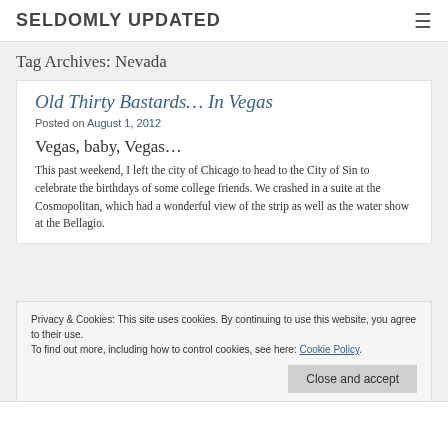SELDOMLY UPDATED
Tag Archives: Nevada
Old Thirty Bastards… In Vegas
Posted on August 1, 2012
Vegas, baby, Vegas…
This past weekend, I left the city of Chicago to head to the City of Sin to celebrate the birthdays of some college friends. We crashed in a suite at the Cosmopolitan, which had a wonderful view of the strip as well as the water show at the Bellagio.
Privacy & Cookies: This site uses cookies. By continuing to use this website, you agree to their use. To find out more, including how to control cookies, see here: Cookie Policy
Close and accept